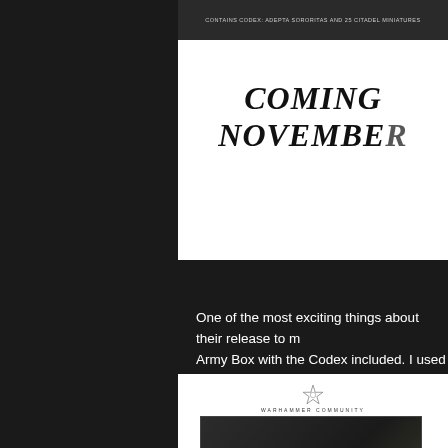[Figure (screenshot): White panel showing text 'CONTAINS CODEX: ADEPTA SORORITAS AND 25 CITADEL MINIATURES' at top and 'COMING NOVEMBER' in large gothic/blackletter font below]
One of the most exciting things about their release to me is the Army Box with the Codex included. I used to love these, when a new army came out the first release was a massive army box of new units, the book, usually a limited edition model, and before they're released generally. It was a great way to start a new army, more of this going forward.
[Figure (screenshot): White panel showing Warhammer Community logo at top and Middle-Earth Strategy Battle Game book cover below]